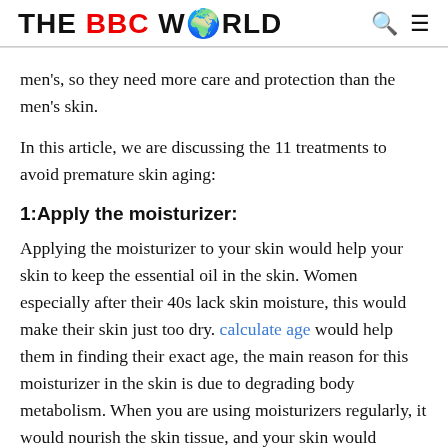THE BBC WORLD
men's, so they need more care and protection than the men's skin.
In this article, we are discussing the 11 treatments to avoid premature skin aging:
1:Apply the moisturizer:
Applying the moisturizer to your skin would help your skin to keep the essential oil in the skin. Women especially after their 40s lack skin moisture, this would make their skin just too dry. calculate age would help them in finding their exact age, the main reason for this moisturizer in the skin is due to degrading body metabolism. When you are using moisturizers regularly, it would nourish the skin tissue, and your skin would become soft and silky even in the dry